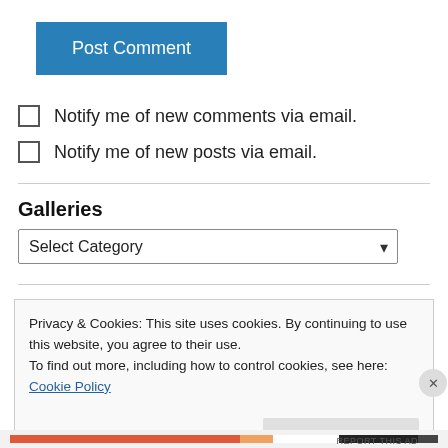[Figure (screenshot): Blue 'Post Comment' button]
Notify me of new comments via email.
Notify me of new posts via email.
Galleries
[Figure (screenshot): Select Category dropdown]
Privacy & Cookies: This site uses cookies. By continuing to use this website, you agree to their use.
To find out more, including how to control cookies, see here: Cookie Policy
Close and accept